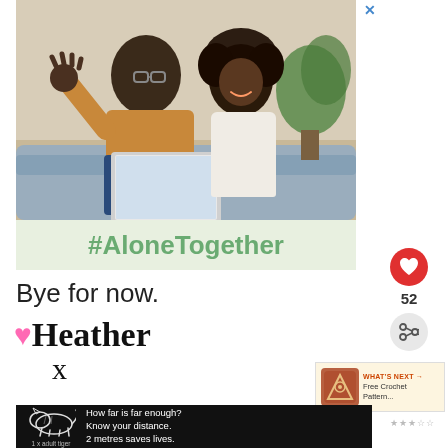[Figure (photo): Photo of a father and daughter sitting on a couch, waving at a laptop screen during a video call. Below the photo is a light green banner with '#AloneTogether' in bold green text.]
Bye for now.
♥Heather x
[Figure (infographic): Circular red heart button with white heart icon, number 52, and a share icon below it on the right side.]
[Figure (infographic): What's Next promo box with crochet badge image and text 'WHAT'S NEXT → Free Crochet Pattern...']
[Figure (infographic): Black advertisement banner with tiger illustration and text: 'How far is far enough? Know your distance. 2 metres saves lives.' with label '1 x adult tiger']